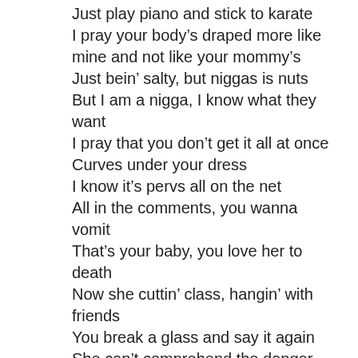Just play piano and stick to karate
I pray your body’s draped more like mine and not like your mommy’s
Just bein’ salty, but niggas is nuts
But I am a nigga, I know what they want
I pray that you don’t get it all at once
Curves under your dress
I know it’s pervs all on the net
All in the comments, you wanna vomit
That’s your baby, you love her to death
Now she cuttin’ class, hangin’ with friends
You break a glass and say it again
She can’t comprehend the danger she’s in
If you whip her ass, she move in with him
Then he whip her ass, you go through it again
But how you the devil rebukin’ the sin?
Let’s pray we can put this behind us
I swear that these times is the wildest